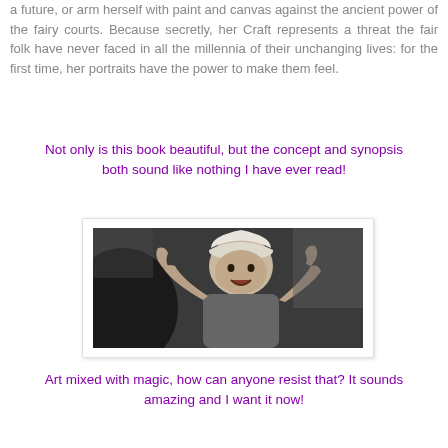a future, or arm herself with paint and canvas against the ancient power of the fairy courts. Because secretly, her Craft represents a threat the fair folk have never faced in all the millennia of their unchanging lives: for the first time, her portraits have the power to make them feel.
Not only is this book beautiful, but the concept and synopsis both sound like nothing I have ever read!
[Figure (photo): Black and white photograph of a baby in a car seat, arms raised, mouth open in an expression of excitement or surprise, wearing a light-colored outfit.]
Art mixed with magic, how can anyone resist that? It sounds amazing and I want it now!